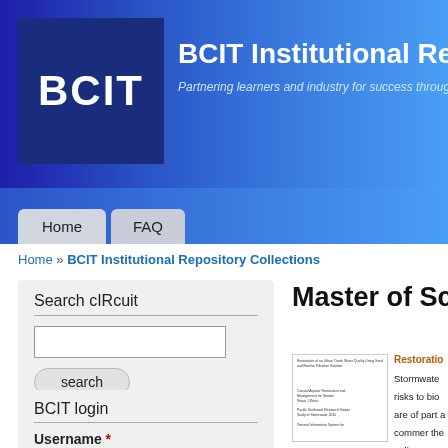BCIT Institutional Repository — Partnering learners and industry for success through
Home » BCIT Institutional Repository Collections
Search cIRcuit
BCIT login
Master of Scien
Restoratio
Stormwate risks to bio are of part a commer the polluta